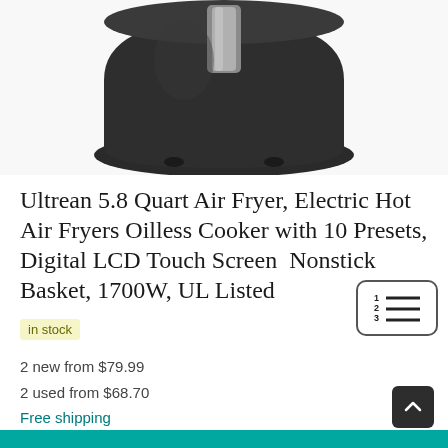[Figure (photo): Product photo of a black Ultrean 5.8 Quart Air Fryer, showing the top portion of the device with a silver handle accent, on a white background.]
Ultrean 5.8 Quart Air Fryer, Electric Hot Air Fryers Oilless Cooker with 10 Presets, Digital LCD Touch Screen, Nonstick Basket, 1700W, UL Listed
in stock
2 new from $79.99
2 used from $68.70
Free shipping